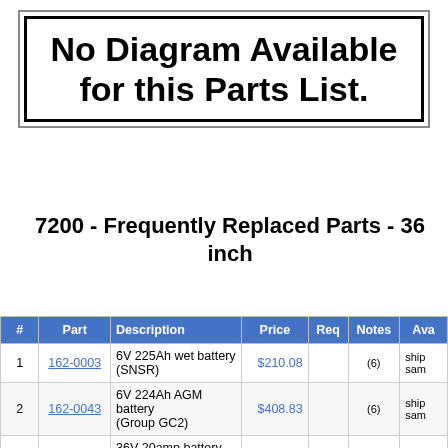[Figure (other): Box with text: No Diagram Available for this Parts List.]
7200 - Frequently Replaced Parts - 36 inch
| # | Part | Description | Price | Req | Notes | Ava |
| --- | --- | --- | --- | --- | --- | --- |
| 1 | 162-0003 | 6V 225Ah wet battery (SNSR) | $210.08 |  | (6) | ship sam |
| 2 | 162-0043 | 6V 224Ah AGM battery (Group GC2) | $408.83 |  | (6) | ship sam |
|  | 162-... | 36V 20amp battery charger with... | $??? |  |  | ship |